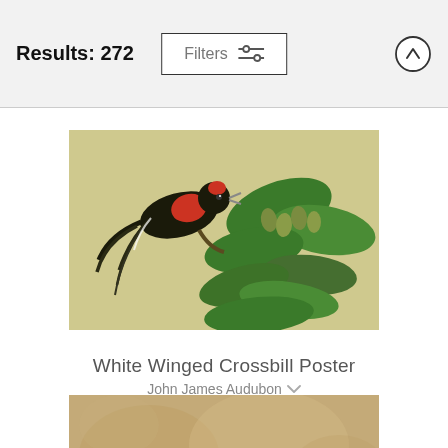Results: 272  Filters
[Figure (illustration): Botanical illustration showing a red-breasted bird (White Winged Crossbill) perched among green leaves and seed clusters on a pale yellow-green background]
White Winged Crossbill Poster
John James Audubon
$16  $13
[Figure (illustration): Aged parchment or paper texture in tan and beige tones, partial view of second product image]